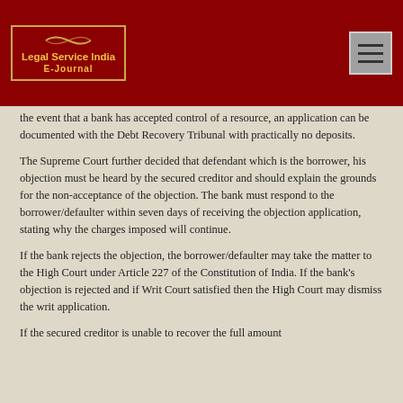[Figure (logo): Legal Service India E-Journal logo with gold border and text on dark red background]
the event that a bank has accepted control of a resource, an application can be documented with the Debt Recovery Tribunal with practically no deposits.
The Supreme Court further decided that defendant which is the borrower, his objection must be heard by the secured creditor and should explain the grounds for the non-acceptance of the objection. The bank must respond to the borrower/defaulter within seven days of receiving the objection application, stating why the charges imposed will continue.
If the bank rejects the objection, the borrower/defaulter may take the matter to the High Court under Article 227 of the Constitution of India. If the bank's objection is rejected and if Writ Court satisfied then the High Court may dismiss the writ application.
If the secured creditor is unable to recover the full amount